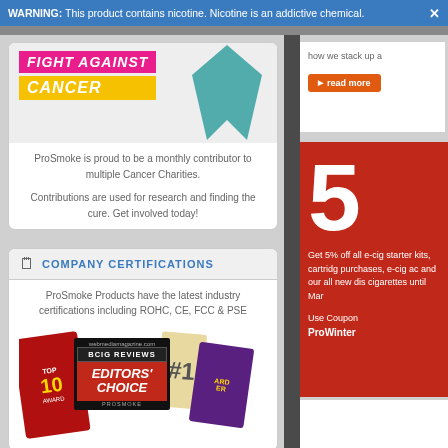WARNING: This product contains nicotine. Nicotine is an addictive chemical.
[Figure (infographic): Fight Against Cancer banner with pink and yellow text blocks and teal ribbon graphic]
ProSmoke is proud to be a monthly contributor to multiple Cancer Charities.

Contributions are used for research and finding the cure. Get involved today!
COMPANY CERTIFICATIONS
ProSmoke Products have the latest industry certifications including ROHC, CE, FCC & PSE
[Figure (illustration): Award badges including Top 10 award, BCIG Reviews #1, Editors Choice ProSmoke badge, and another award badge]
how we stack up a
read more
5
Get 5% off all e-cig starter kits, cartridge purchases, e-cig ac and our all new dis cigarettes until Mar

Use Coupon
ProWinter